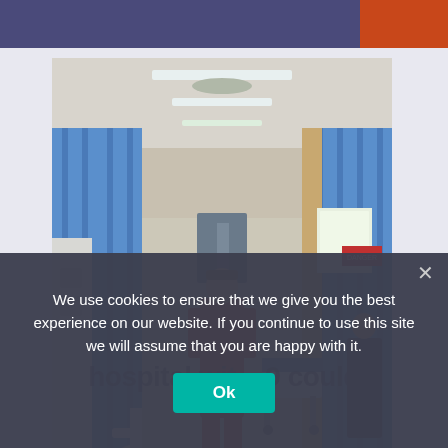[Figure (photo): Hospital ward corridor scene: a healthcare worker in red scrubs walks away from camera along a corridor flanked by blue privacy curtains. Medical equipment including sinks, dispensers, and a gurney are visible. Fluorescent lighting overhead.]
We use cookies to ensure that we give you the best experience on our website. If you continue to use this site we will assume that you are happy with it.
hospital wit... 9 could
Ok